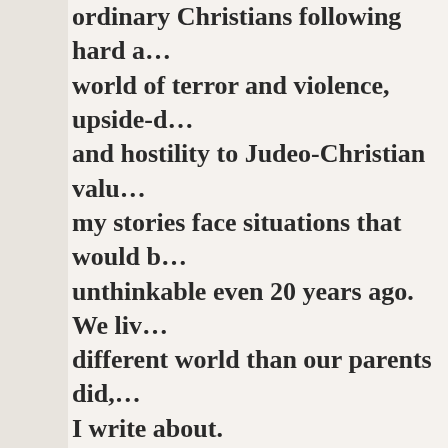ordinary Christians following hard a… world of terror and violence, upside-d… and hostility to Judeo-Christian valu… my stories face situations that would b… unthinkable even 20 years ago. We liv… different world than our parents did, … I write about.
Yet very few Christian fiction books c… characters, even though fiction is a gr… imparting life lessons. I don't claim t… answers. My goal was not to push an a… wanted to tell the story of one Christi… she chose to live out Christ's law of lo… abandoning her convictions.